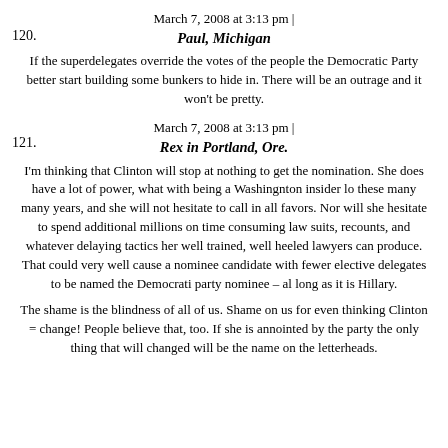March 7, 2008 at 3:13 pm |
Paul, Michigan
If the superdelegates override the votes of the people the Democratic Party better start building some bunkers to hide in. There will be an outrage and it won't be pretty.
March 7, 2008 at 3:13 pm |
Rex in Portland, Ore.
I'm thinking that Clinton will stop at nothing to get the nomination. She does have a lot of power, what with being a Washingnton insider lo these many many years, and she will not hesitate to call in all favors. Nor will she hesitate to spend additional millions on time consuming law suits, recounts, and whatever delaying tactics her well trained, well heeled lawyers can produce. That could very well cause a nominee candidate with fewer elective delegates to be named the Democrati party nominee – al long as it is Hillary.
The shame is the blindness of all of us. Shame on us for even thinking Clinton = change! People believe that, too. If she is annointed by the party the only thing that will changed will be the name on the letterheads.